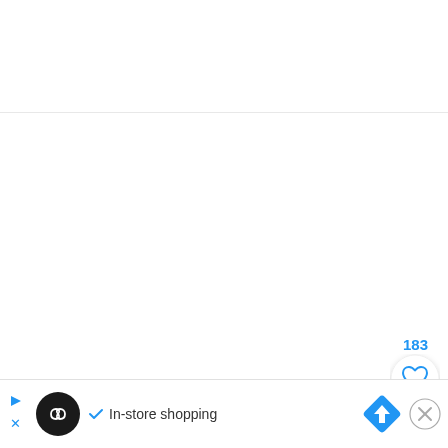[Figure (screenshot): White content area with a horizontal divider line near the top third of the page]
[Figure (infographic): Like/favorite button (heart icon) with count 183 in blue, circular white button with drop shadow, positioned bottom-right]
183
[Figure (screenshot): Advertisement banner at bottom: play/skip icon, black circle logo with infinity symbol, checkmark and 'In-store shopping' text, blue diamond navigation icon, and circular X close button]